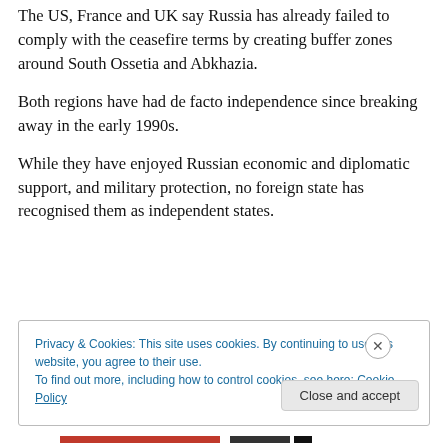The US, France and UK say Russia has already failed to comply with the ceasefire terms by creating buffer zones around South Ossetia and Abkhazia.
Both regions have had de facto independence since breaking away in the early 1990s.
While they have enjoyed Russian economic and diplomatic support, and military protection, no foreign state has recognised them as independent states.
Privacy & Cookies: This site uses cookies. By continuing to use this website, you agree to their use.
To find out more, including how to control cookies, see here: Cookie Policy